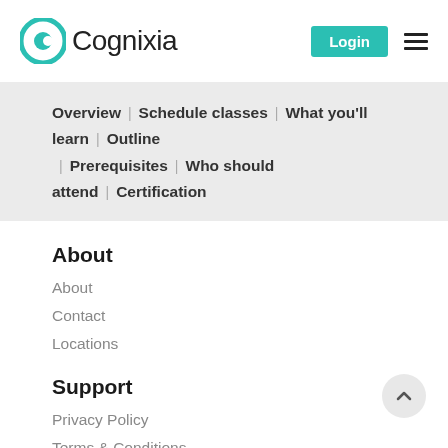[Figure (logo): Cognixia logo with teal circular C icon and brand name text]
Overview | Schedule classes | What you'll learn | Outline | Prerequisites | Who should attend | Certification
About
About
Contact
Locations
Support
Privacy Policy
Terms & Conditions
Site Map